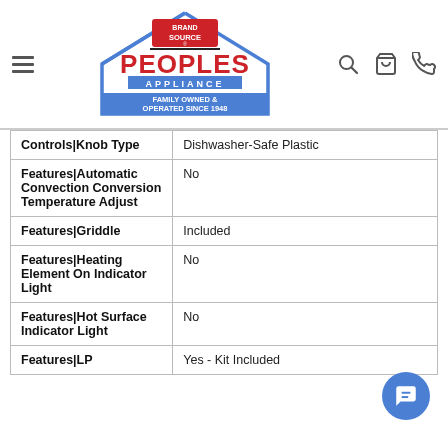[Figure (logo): Peoples Appliance / Brand Source logo — house outline with Brand Source badge at top, PEOPLES in large red letters, APPLIANCE in blue banner, blue banner below reading FAMILY OWNED & OPERATED SINCE 1948]
| Feature | Value |
| --- | --- |
| Controls|Knob Type | Dishwasher-Safe Plastic |
| Features|Automatic Convection Conversion Temperature Adjust | No |
| Features|Griddle | Included |
| Features|Heating Element On Indicator Light | No |
| Features|Hot Surface Indicator Light | No |
| Features|LP | Yes - Kit Included |